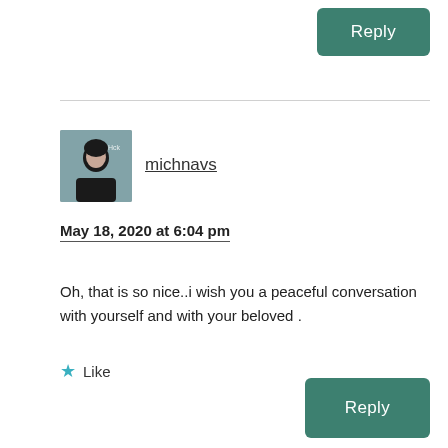Reply
[Figure (photo): Avatar photo of user michnavs — a woman in a dark top against a grey background]
michnavs
May 18, 2020 at 6:04 pm
Oh, that is so nice..i wish you a peaceful conversation with yourself and with your beloved .
Like
Reply